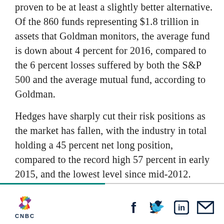proven to be at least a slightly better alternative. Of the 860 funds representing $1.8 trillion in assets that Goldman monitors, the average fund is down about 4 percent for 2016, compared to the 6 percent losses suffered by both the S&P 500 and the average mutual fund, according to Goldman.
Hedges have sharply cut their risk positions as the market has fallen, with the industry in total holding a 45 percent net long position, compared to the record high 57 percent in early 2015, and the lowest level since mid-2012.
[Figure (logo): CNBC peacock logo with colorful feathers and CNBC text below]
[Figure (infographic): Social media share icons: Facebook (f), Twitter (bird), LinkedIn (in), Email (envelope)]